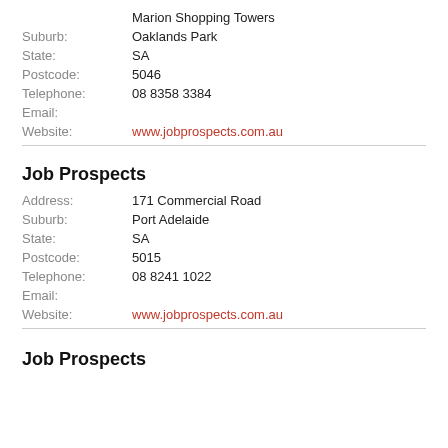Marion Shopping Towers
Suburb: Oaklands Park
State: SA
Postcode: 5046
Telephone: 08 8358 3384
Email:
Website: www.jobprospects.com.au
Job Prospects
Address: 171 Commercial Road
Suburb: Port Adelaide
State: SA
Postcode: 5015
Telephone: 08 8241 1022
Email:
Website: www.jobprospects.com.au
Job Prospects